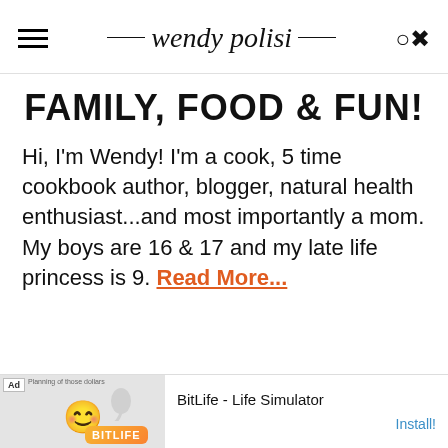wendy polisi
FAMILY, FOOD & FUN!
Hi, I'm Wendy! I'm a cook, 5 time cookbook author, blogger, natural health enthusiast...and most importantly a mom. My boys are 16 & 17 and my late life princess is 9. Read More...
[Figure (screenshot): Advertisement banner for BitLife - Life Simulator app with emoji smiley face graphic and Install button]